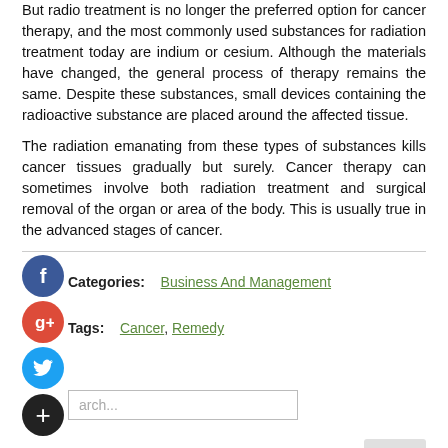But radio treatment is no longer the preferred option for cancer therapy, and the most commonly used substances for radiation treatment today are indium or cesium. Although the materials have changed, the general process of therapy remains the same. Despite these substances, small devices containing the radioactive substance are placed around the affected tissue.
The radiation emanating from these types of substances kills cancer tissues gradually but surely. Cancer therapy can sometimes involve both radiation treatment and surgical removal of the organ or area of the body. This is usually true in the advanced stages of cancer.
Categories:   Business And Management
Tags:   Cancer, Remedy
Recent Posts
How Much Does Memory Care Cost?